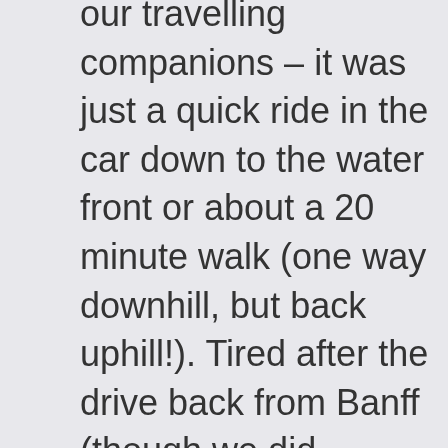our travelling companions – it was just a quick ride in the car down to the water front or about a 20 minute walk (one way downhill, but back uphill!). Tired after the drive back from Banff (though we did overnight halfway at Kelowna), we took the driving option and found parking surprisingly easy though we did have to use the paid multi storey car park near the Lonsdale Centre. Situated on the Burrard Inlet, which separates Downtown Vancouver from its northern neighbour, we had been told that there were wonderful views